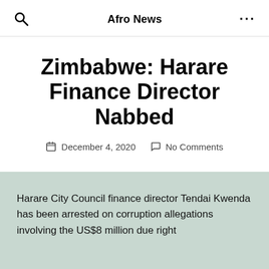Afro News
Zimbabwe: Harare Finance Director Nabbed
December 4, 2020   No Comments
Harare City Council finance director Tendai Kwenda has been arrested on corruption allegations involving the US$8 million due right...